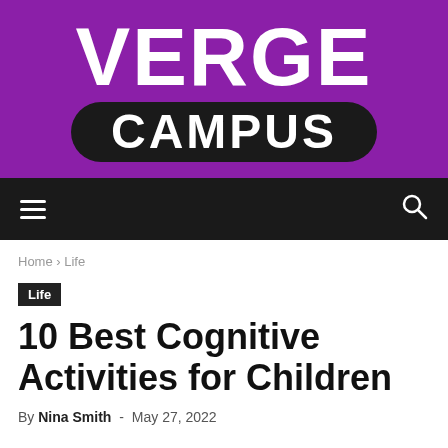[Figure (logo): Verge Campus logo — purple background with large white text VERGE and a black pill shape containing white text CAMPUS]
Navigation bar with hamburger menu and search icon
Home › Life
Life
10 Best Cognitive Activities for Children
By Nina Smith - May 27, 2022